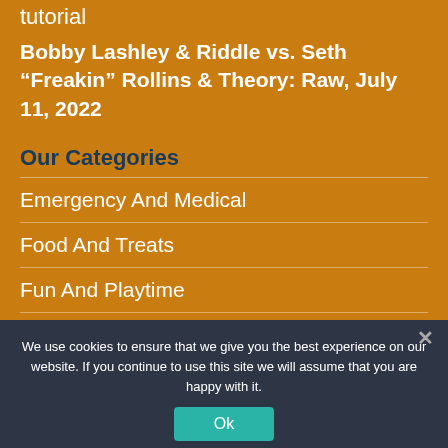tutorial
Bobby Lashley & Riddle vs. Seth “Freakin” Rollins & Theory: Raw, July 11, 2022
Our Categories
Emergency And Medical
Food And Treats
Fun And Playtime
Training And Exercise
Uncategorized
We use cookies to ensure that we give you the best experience on our website. If you continue to use this site we will assume that you are happy with it.